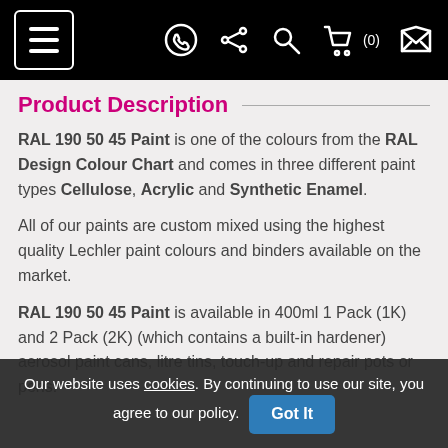Navigation bar with hamburger menu, WhatsApp, share, search, cart (0), and envelope icons
Product Description
RAL 190 50 45 Paint is one of the colours from the RAL Design Colour Chart and comes in three different paint types Cellulose, Acrylic and Synthetic Enamel.
All of our paints are custom mixed using the highest quality Lechler paint colours and binders available on the market.
RAL 190 50 45 Paint is available in 400ml 1 Pack (1K) and 2 Pack (2K) (which contains a built-in hardener) aerosol paint cans, litre tins, touch-up and repair pots or pens.
Our website uses cookies. By continuing to use our site, you agree to our policy. Got It